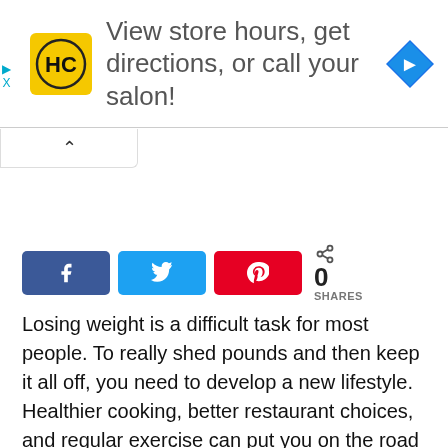[Figure (advertisement): HC salon brand advertisement banner with yellow HC logo, navigation diamond icon, and text: View store hours, get directions, or call your salon!]
Losing weight is a difficult task for most people. To really shed pounds and then keep it all off, you need to develop a new lifestyle. Healthier cooking, better restaurant choices, and regular exercise can put you on the road to real, lasting weight loss. Essentially, you must become a new person. A health farm can be a great way to do this, but not everyone finds that idea appealing. For many, the